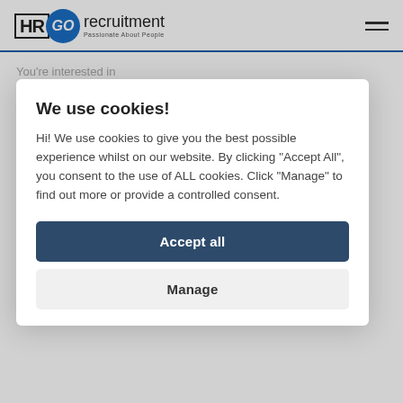[Figure (logo): HRGO recruitment logo with blue circle containing GO, and tagline Passionate About People]
You’re interested in
AGRICULTURE AND RURAL AFFAIRS
LEGAL SECRET...
We use cookies!
Hi! We use cookies to give you the best possible experience whilst on our website. By clicking "Accept All", you consent to the use of ALL cookies. Click "Manage" to find out more or provide a controlled consent.
Accept all
Manage